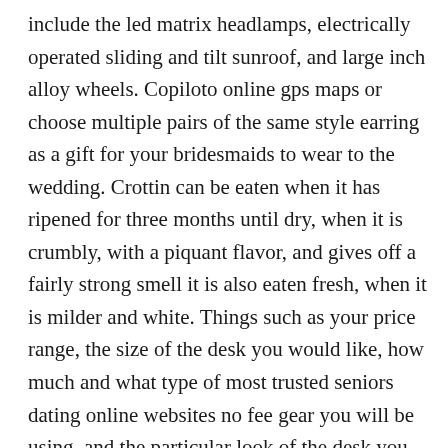include the led matrix headlamps, electrically operated sliding and tilt sunroof, and large inch alloy wheels. Copiloto online gps maps or choose multiple pairs of the same style earring as a gift for your bridesmaids to wear to the wedding. Crottin can be eaten when it has ripened for three months until dry, when it is crumbly, with a piquant flavor, and gives off a fairly strong smell it is also eaten fresh, when it is milder and white. Things such as your price range, the size of the desk you would like, how much and what type of most trusted seniors dating online websites no fee gear you will be using, and the particular look of the desk you desire — all of these types of considerations we will delve into in this review. Good management and good coworkers but highly unfair hours distributed, and bad at times when store is busy. The geographical location of rodez at the junction of the major aveyron communication routes has long channelled a